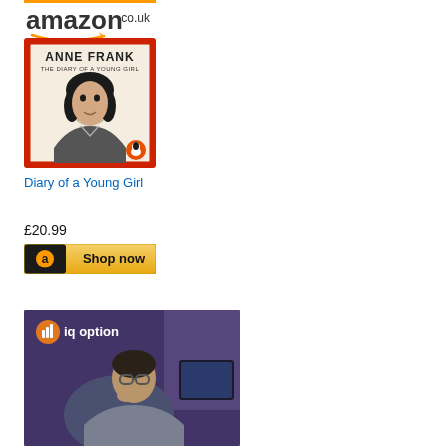[Figure (logo): amazon.co.uk logo with orange smile arrow]
[Figure (photo): Book cover of Anne Frank: The Diary of a Young Girl, showing a portrait of a young girl with a red decorative border and Penguin logo]
Diary of a Young Girl
£20.99
[Figure (screenshot): Amazon 'Shop now' button with Amazon 'a' logo on dark background on left and gold/yellow gradient background]
[Figure (photo): IQ Option advertisement showing a man with glasses working at a computer in a dark room with purple tones, with the IQ Option logo (orange bar chart icon and 'iq option' text) in the upper left]